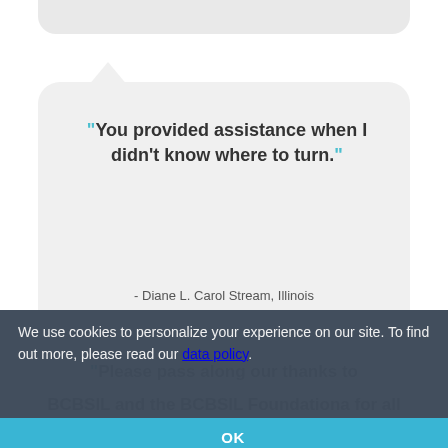"You provided assistance when I didn't know where to turn."
- Diane L. Carol Stream, Illinois
We use cookies to personalize your experience on our site. To find out more, please read our data policy.
OK